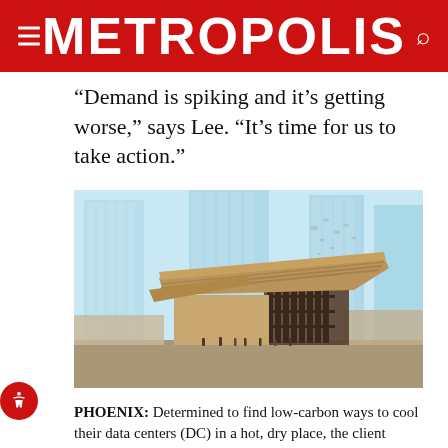METROPOLIS
“Demand is spiking and it’s getting worse,” says Lee. “It’s time for us to take action.”
[Figure (illustration): Architectural rendering of a modern building with a dramatic angled wooden roof/canopy, floor-to-ceiling glass facade, set against tall glass skyscrapers in the background and a cloudy sky with birds.]
PHOENIX: Determined to find low-carbon ways to cool their data centers (DC) in a hot, dry place, the client...